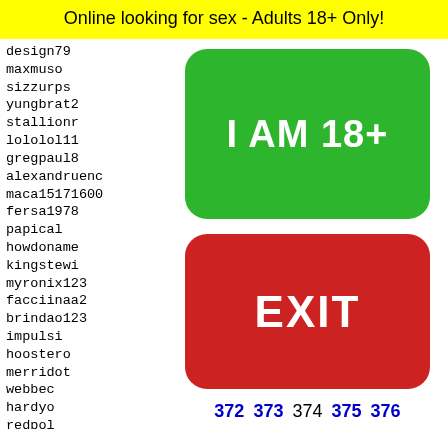Online looking for sex - Adults 18+ Only!
design79
maxmuso
sizzurps
yungbrat2
stallionr
lololol11
gregpaul8
alexandruenc
maca15171600
fersa1978
papical
howdoname
kingstewi
myronix123
facciinaa2
brindao123
impulsi
hoostero
merridot
webbec
hardyo
redpol
ima198
dododr
hothea
[Figure (illustration): Green rounded rectangle button with white bold text 'I AM 18+']
[Figure (illustration): Red rounded rectangle button with white bold text 'EXIT']
372 373 374 375 376
[Figure (illustration): Yellow rounded rectangle with black border showing dots pattern and a partial face/emoji at the bottom]